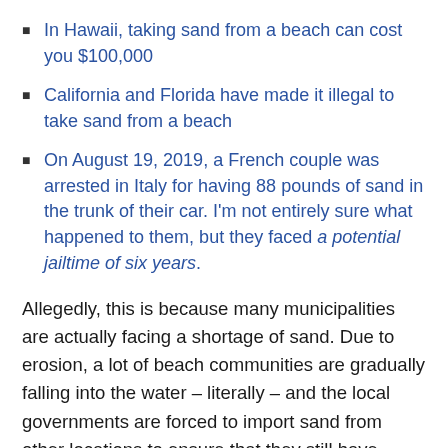In Hawaii, taking sand from a beach can cost you $100,000
California and Florida have made it illegal to take sand from a beach
On August 19, 2019, a French couple was arrested in Italy for having 88 pounds of sand in the trunk of their car. I'm not entirely sure what happened to them, but they faced a potential jailtime of six years.
Allegedly, this is because many municipalities are actually facing a shortage of sand. Due to erosion, a lot of beach communities are gradually falling into the water – literally – and the local governments are forced to import sand from other locations to ensure that they still have ground to walk on.